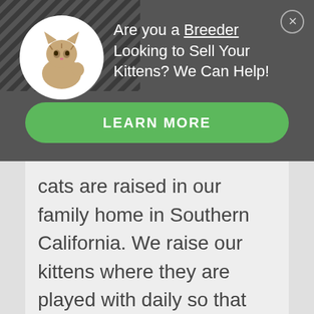[Figure (screenshot): Advertisement banner with dark gray background showing a kitten in a circular frame on the left, headline text 'Are you a Breeder Looking to Sell Your Kittens? We Can Help!' in white, and a green 'LEARN MORE' button.]
cats are raised in our family home in Southern California. We raise our kittens where they are played with daily so that they are exposed to children and other animals from a young age. We only